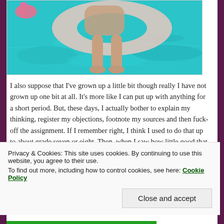[Figure (photo): A person floating in a turquoise swimming pool on an inflatable ring, with a pink flamingo float visible. The person's legs and feet are visible dangling in the water.]
I also suppose that I've grown up a little bit though really I have not grown up one bit at all. It's more like I can put up with anything for a short period. But, these days, I actually bother to explain my thinking, register my objections, footnote my sources and then fuck-off the assignment. If I remember right, I think I used to do that up to about grade seven or eight. Then, when I saw how little good that did, it just all became 'fuck off' and 'fuck you' and 'fuck you, you
Privacy & Cookies: This site uses cookies. By continuing to use this website, you agree to their use.
To find out more, including how to control cookies, see here: Cookie Policy
Close and accept